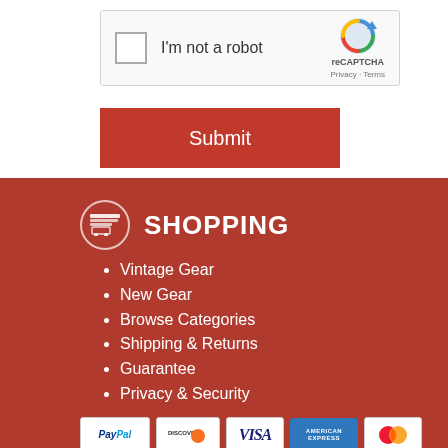[Figure (screenshot): reCAPTCHA widget with checkbox labeled 'I'm not a robot', reCAPTCHA logo and Privacy/Terms links]
[Figure (screenshot): Red Submit button]
SHOPPING
Vintage Gear
New Gear
Browse Categories
Shipping & Returns
Guarantee
Privacy & Security
[Figure (logo): Payment method logos: PayPal, Discover, VISA, American Express, Mastercard]
[Figure (logo): GoDaddy and Norton security badge logos]